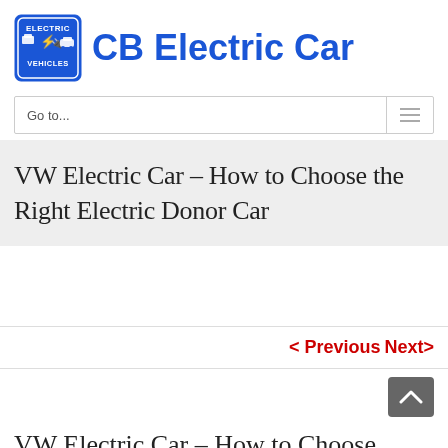[Figure (logo): CB Electric Car logo: blue square with electric vehicles icon and text ELECTRIC VEHICLES, next to large blue bold text CB Electric Car]
Go to...
VW Electric Car – How to Choose the Right Electric Donor Car
< Previous   Next >
VW Electric Car – How to Choose